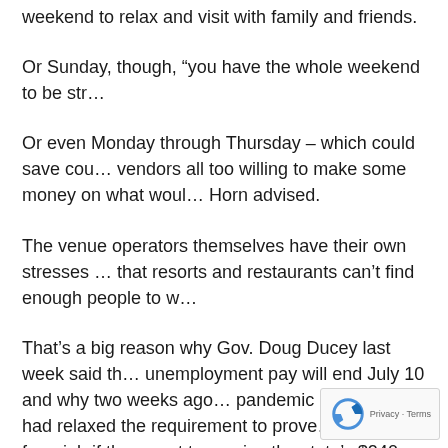weekend to relax and visit with family and friends.
Or Sunday, though, “you have the whole weekend to be str…
Or even Monday through Thursday – which could save cou… vendors all too willing to make some money on what woul… Horn advised.
The venue operators themselves have their own stresses … that resorts and restaurants can’t find enough people to w…
That’s a big reason why Gov. Doug Ducey last week said th… unemployment pay will end July 10 and why two weeks ago… pandemic order that had relaxed the requirement to prove… searching for a job if they want to receive the state’s $240 compensation.
In rescinding the extra $300-a-week, Ducey specifically cite… restaurants, bars and the like are having finding wait staff, other employees.
Arizona Grand General Manager Paul Gray can te…